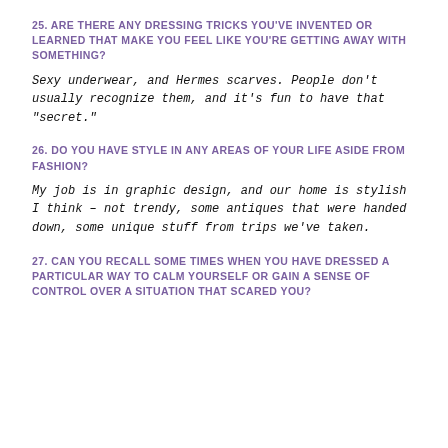25. ARE THERE ANY DRESSING TRICKS YOU'VE INVENTED OR LEARNED THAT MAKE YOU FEEL LIKE YOU'RE GETTING AWAY WITH SOMETHING?
Sexy underwear, and Hermes scarves. People don't usually recognize them, and it's fun to have that "secret."
26. DO YOU HAVE STYLE IN ANY AREAS OF YOUR LIFE ASIDE FROM FASHION?
My job is in graphic design, and our home is stylish I think – not trendy, some antiques that were handed down, some unique stuff from trips we've taken.
27. CAN YOU RECALL SOME TIMES WHEN YOU HAVE DRESSED A PARTICULAR WAY TO CALM YOURSELF OR GAIN A SENSE OF CONTROL OVER A SITUATION THAT SCARED YOU?